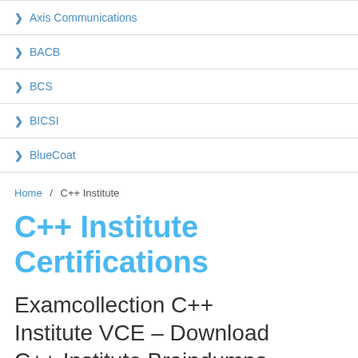Axis Communications
BACB
BCS
BICSI
BlueCoat
Home / C++ Institute
C++ Institute Certifications
Examcollection C++ Institute VCE – Download C++ Institute Braindumps